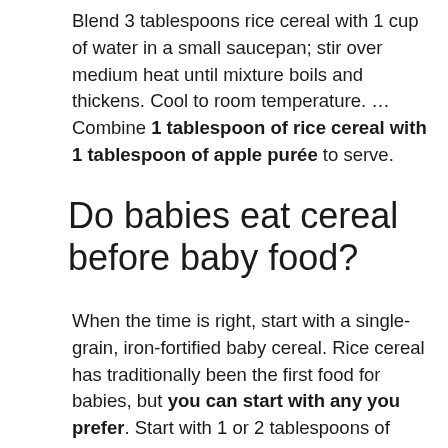Blend 3 tablespoons rice cereal with 1 cup of water in a small saucepan; stir over medium heat until mixture boils and thickens. Cool to room temperature. … Combine 1 tablespoon of rice cereal with 1 tablespoon of apple purée to serve.
Do babies eat cereal before baby food?
When the time is right, start with a single-grain, iron-fortified baby cereal. Rice cereal has traditionally been the first food for babies, but you can start with any you prefer. Start with 1 or 2 tablespoons of cereal mixed with breast milk, formula, or water. Another good first option is an iron-rich puréed meat.